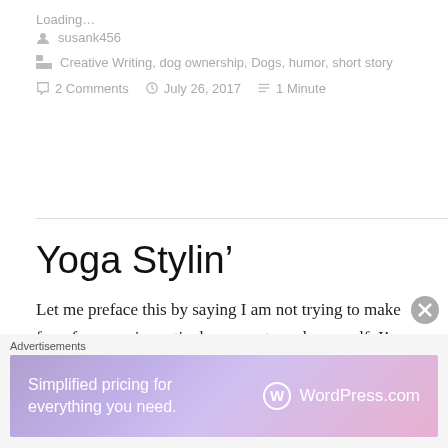Loading...
susank456
Creative Writing, dog ownership, Dogs, humor, short story
2 Comments   July 26, 2017   1 Minute
Yoga Stylin'
Let me preface this by saying I am not trying to make fun of anyone in particular, except maybe myself. I'm a
Advertisements
[Figure (screenshot): WordPress.com advertisement banner: 'Simplified pricing for everything you need.' with WordPress.com logo on a purple-pink gradient background]